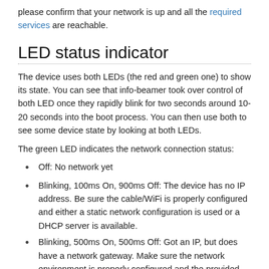please confirm that your network is up and all the required services are reachable.
LED status indicator
The device uses both LEDs (the red and green one) to show its state. You can see that info-beamer took over control of both LED once they rapidly blink for two seconds around 10-20 seconds into the boot process. You can then use both to see some device state by looking at both LEDs.
The green LED indicates the network connection status:
Off: No network yet
Blinking, 100ms On, 900ms Off: The device has no IP address. Be sure the cable/WiFi is properly configured and either a static network configuration is used or a DHCP server is available.
Blinking, 500ms On, 500ms Off: Got an IP, but does have a network gateway. Make sure the network environment is properly configured and the provided default route is correct.
Blinking, 900ms On, 100ms Off: Found a gateway, but the